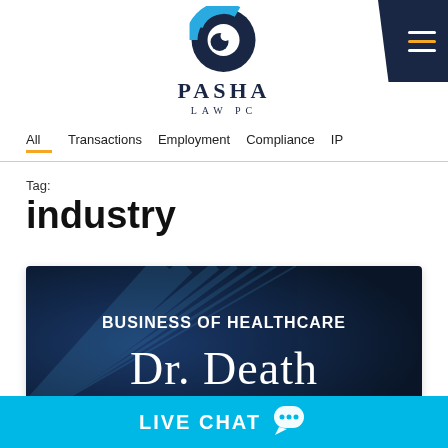[Figure (logo): Pasha Law PC logo with circular icon in blue tones and firm name in serif text]
All  Transactions  Employment  Compliance  IP
Tag:
industry
[Figure (photo): Dark navy blue banner image with text 'BUSINESS OF HEALTHCARE Dr. Death']
LIVE CHAT